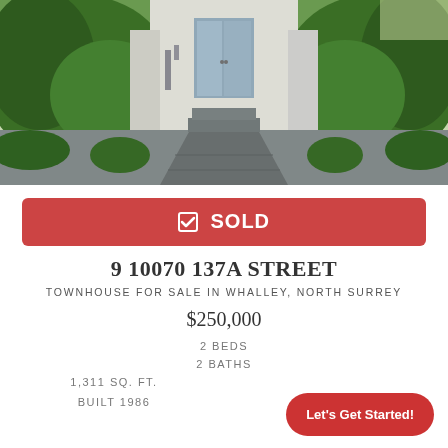[Figure (photo): Exterior photo of a townhouse entrance with green hedges on either side, a walkway leading to a glass door, white stucco building]
✔ SOLD
9 10070 137A STREET
TOWNHOUSE FOR SALE IN WHALLEY, NORTH SURREY
$250,000
2 BEDS
2 BATHS
1,311 SQ. FT.
BUILT 1986
Let's Get Started!